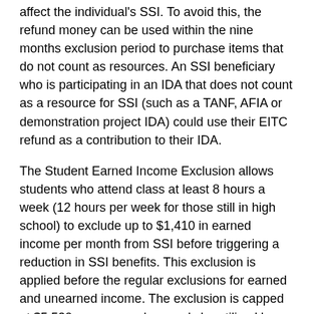affect the individual's SSI. To avoid this, the refund money can be used within the nine months exclusion period to purchase items that do not count as resources. An SSI beneficiary who is participating in an IDA that does not count as a resource for SSI (such as a TANF, AFIA or demonstration project IDA) could use their EITC refund as a contribution to their IDA.
The Student Earned Income Exclusion allows students who attend class at least 8 hours a week (12 hours per week for those still in high school) to exclude up to $1,410 in earned income per month from SSI before triggering a reduction in SSI benefits. This exclusion is applied before the regular exclusions for earned and unearned income. The exclusion is capped at $5,520 per year and can only be utilized by students who are 22 and younger (SSA, 2005a, p. 41).
i. Program-Wide Incentives